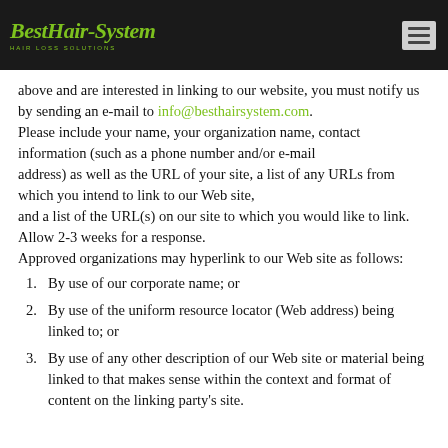BestHairSystem HAIR LOSS SOLUTIONS
above and are interested in linking to our website, you must notify us by sending an e-mail to info@besthairsystem.com. Please include your name, your organization name, contact information (such as a phone number and/or e-mail address) as well as the URL of your site, a list of any URLs from which you intend to link to our Web site, and a list of the URL(s) on our site to which you would like to link. Allow 2-3 weeks for a response. Approved organizations may hyperlink to our Web site as follows:
By use of our corporate name; or
By use of the uniform resource locator (Web address) being linked to; or
By use of any other description of our Web site or material being linked to that makes sense within the context and format of content on the linking party's site.